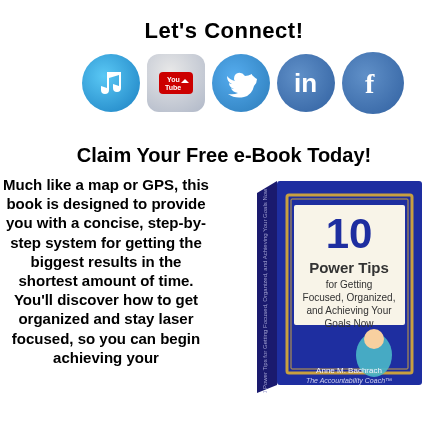Let's Connect!
[Figure (illustration): Social media icons: iTunes, YouTube, Twitter, LinkedIn, Facebook]
Claim Your Free e-Book Today!
Much like a map or GPS, this book is designed to provide you with a concise, step-by-step system for getting the biggest results in the shortest amount of time. You'll discover how to get organized and stay laser focused, so you can begin achieving your
[Figure (photo): Book cover: '10 Power Tips for Getting Focused, Organized, and Achieving Your Goals Now' by Anne M. Bachrach, The Accountability Coach]